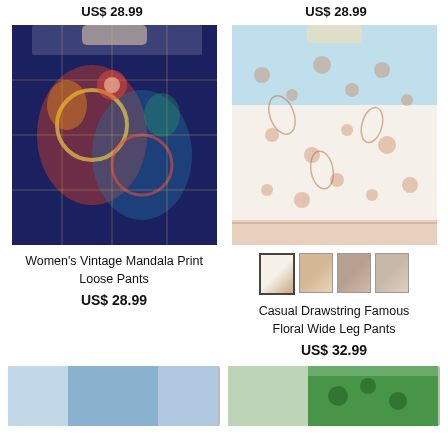US$ 28.99
US$ 28.99
[Figure (photo): Women's vintage mandala print loose pants, dark navy background with colorful medallion/tile pattern]
[Figure (photo): Casual drawstring floral wide leg pants, white/cream background with small floral paisley print]
Women's Vintage Mandala Print Loose Pants
US$ 28.99
[Figure (photo): Color swatches showing 4 color variants of the Casual Drawstring Famous Floral Wide Leg Pants]
Casual Drawstring Famous Floral Wide Leg Pants
US$ 32.99
[Figure (photo): Partial bottom image - blue outfit]
[Figure (photo): Partial bottom image - green patterned shorts]